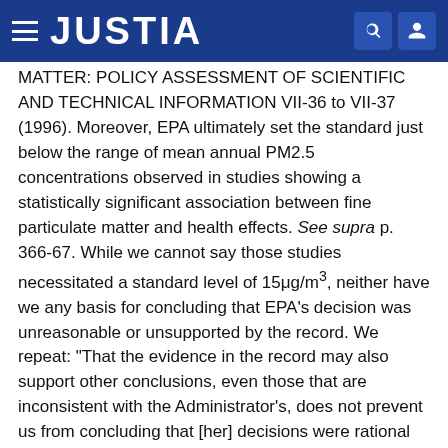JUSTIA
MATTER: POLICY ASSESSMENT OF SCIENTIFIC AND TECHNICAL INFORMATION VII-36 to VII-37 (1996). Moreover, EPA ultimately set the standard just below the range of mean annual PM2.5 concentrations observed in studies showing a statistically significant association between fine particulate matter and health effects. See supra p. 366-67. While we cannot say those studies necessitated a standard level of 15μg/m3, neither have we any basis for concluding that EPA's decision was unreasonable or unsupported by the record. We repeat: "That the evidence in the record may also support other conclusions, even those that are inconsistent with the Administrator's, does not prevent us from concluding that [her] decisions were rational and supported by the record." Lead Indus. Ass'n, 647 F.2d at 1160 (internal citations omitted).
This brings us finally to Petitioner's argument that EPA